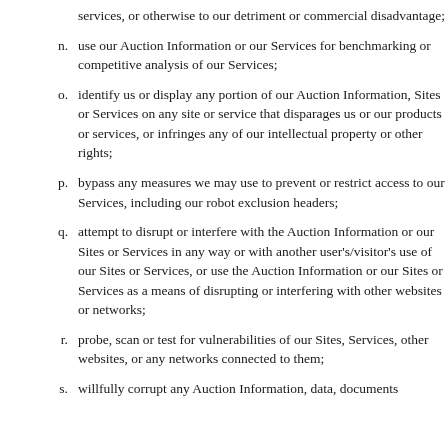services, or otherwise to our detriment or commercial disadvantage;
n. use our Auction Information or our Services for benchmarking or competitive analysis of our Services;
o. identify us or display any portion of our Auction Information, Sites or Services on any site or service that disparages us or our products or services, or infringes any of our intellectual property or other rights;
p. bypass any measures we may use to prevent or restrict access to our Services, including our robot exclusion headers;
q. attempt to disrupt or interfere with the Auction Information or our Sites or Services in any way or with another user's/visitor's use of our Sites or Services, or use the Auction Information or our Sites or Services as a means of disrupting or interfering with other websites or networks;
r. probe, scan or test for vulnerabilities of our Sites, Services, other websites, or any networks connected to them;
s. willfully corrupt any Auction Information, data, documents...